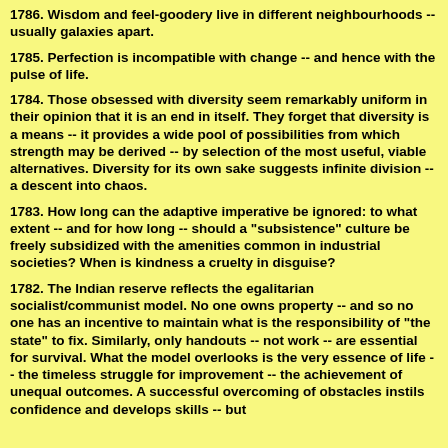1786. Wisdom and feel-goodery live in different neighbourhoods -- usually galaxies apart.
1785. Perfection is incompatible with change -- and hence with the pulse of life.
1784. Those obsessed with diversity seem remarkably uniform in their opinion that it is an end in itself. They forget that diversity is a means -- it provides a wide pool of possibilities from which strength may be derived -- by selection of the most useful, viable alternatives. Diversity for its own sake suggests infinite division -- a descent into chaos.
1783. How long can the adaptive imperative be ignored: to what extent -- and for how long -- should a "subsistence" culture be freely subsidized with the amenities common in industrial societies? When is kindness a cruelty in disguise?
1782. The Indian reserve reflects the egalitarian socialist/communist model. No one owns property -- and so no one has an incentive to maintain what is the responsibility of "the state" to fix. Similarly, only handouts -- not work -- are essential for survival. What the model overlooks is the very essence of life -- the timeless struggle for improvement -- the achievement of unequal outcomes. A successful overcoming of obstacles instils confidence and develops skills -- but